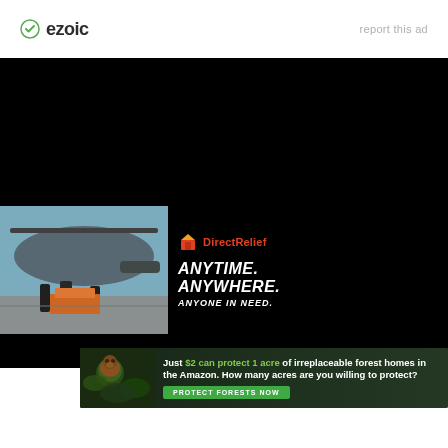[Figure (logo): Ezoic logo with green circle checkmark icon and bold 'ezoic' text]
report this ad
[Figure (photo): Large black background advertising section with Direct Relief ad: helicopter loading scene photo on left, 'DirectRelief ANYTIME. ANYWHERE. ANYONE IN NEED.' text on right]
[Figure (photo): Forest conservation ad: 'Just $2 can protect 1 acre of irreplaceable forest homes in the Amazon. How many acres are you willing to protect?' with PROTECT FORESTS NOW button, showing forest/orangutan background]